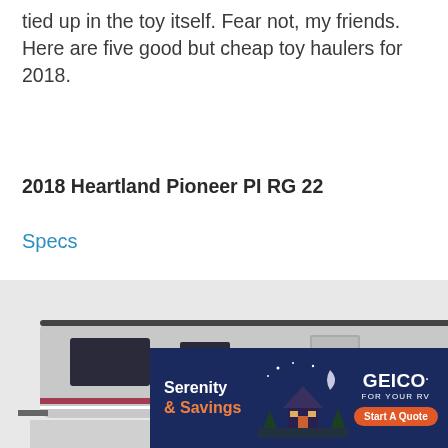tied up in the toy itself. Fear not, my friends. Here are five good but cheap toy haulers for 2018.
2018 Heartland Pioneer PI RG 22
Specs
[Figure (photo): Side exterior view of a 2018 Heartland Pioneer travel trailer / toy hauler RV, silver and dark blue, with 'Pioneer' branding on the rear cap. Pinterest share button in the top-left corner. A teal navigation arrow on the right side.]
[Figure (other): GEICO advertisement banner: 'Serenity & Savings' with illustrated cabin/camping scene at night and GEICO logo with 'FOR YOUR RV' and 'Start A Quote' button.]